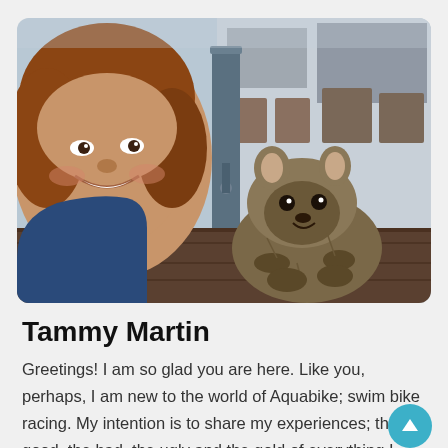[Figure (photo): A smiling woman with curly brown hair taking a selfie outdoors next to a quokka (small marsupial) on what appears to be a wooden surface, with urban buildings visible in the background.]
Tammy Martin
Greetings! I am so glad you are here. Like you, perhaps, I am new to the world of Aquabike; swim bike racing. My intention is to share my experiences; the good, the bad, the ugly and the gold of everything I learn on this alre crazy journey. I pledge to stick with it and to give it my